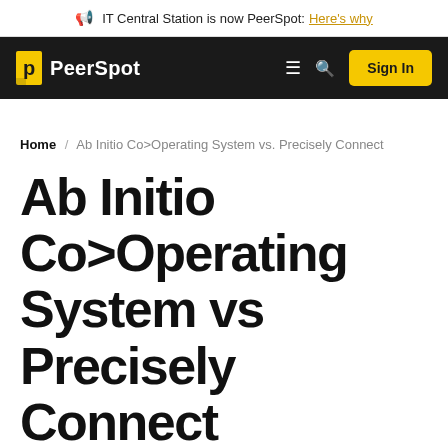IT Central Station is now PeerSpot: Here's why
[Figure (logo): PeerSpot logo with yellow bookmark icon and white text on dark navbar, with hamburger menu, search icon, and Sign In button]
Home / Ab Initio Co>Operating System vs. Precisely Connect
Ab Initio Co>Operating System vs Precisely Connect comparison